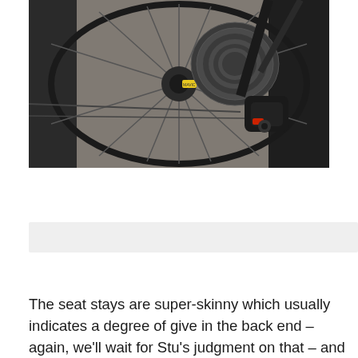[Figure (photo): Close-up photo of a bicycle rear wheel showing cassette gears, spokes, rear derailleur, and part of the carbon frame in dark/black tones against a gravel background.]
The seat stays are super-skinny which usually indicates a degree of give in the back end – again, we'll wait for Stu's judgment on that – and they lead down to carbon-fibre